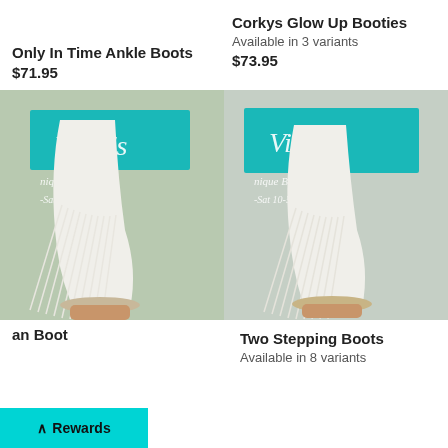Only In Time Ankle Boots
$71.95
Corkys Glow Up Booties
Available in 3 variants
$73.95
[Figure (photo): White fringe cowboy boot held by hand in front of Vikki's Unique Boutique storefront window]
[Figure (photo): White fringe cowboy boot held by hand in front of Vikki's Unique Boutique storefront window]
an Boot
Two Stepping Boots
Available in 8 variants